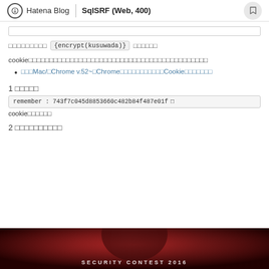Hatena Blog | SqlSRF (Web, 400)
□□□□□□□□□ {encrypt(kusuwada)} □□□□□□
cookie□□□□□□□□□□□□□□□□□□□□□□□□□□□□□□□□□□□□□□□□□□□
□□□Mac/□Chrome v.52~□Chrome□□□□□□□□□□□Cookie□□□□□□□
1 □□□□□
remember : 743f7c045d8853660c482b84f487e01f □
cookie□□□□□□
2 □□□□□□□□□□
[Figure (photo): Red-toned security contest banner image]